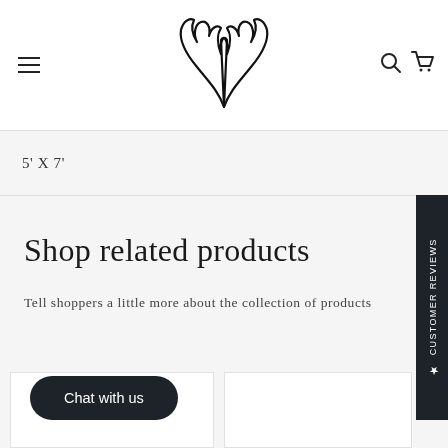Navigation bar with hamburger menu, antler logo, search and cart icons
5' X 7'
Shop related products
Tell shoppers a little more about the collection of products
[Figure (other): Chat with us button (dark rounded button)]
[Figure (other): Customer Reviews vertical side tab label]
[Figure (other): Product card placeholder (white card, left)]
[Figure (other): Product card placeholder (white card, right)]